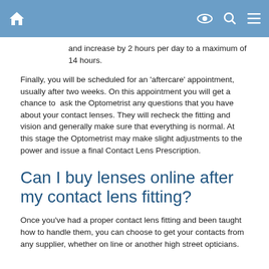Navigation bar with home, eye, search, and menu icons
and increase by 2 hours per day to a maximum of 14 hours.
Finally, you will be scheduled for an 'aftercare' appointment, usually after two weeks. On this appointment you will get a chance to ask the Optometrist any questions that you have about your contact lenses. They will recheck the fitting and vision and generally make sure that everything is normal. At this stage the Optometrist may make slight adjustments to the power and issue a final Contact Lens Prescription.
Can I buy lenses online after my contact lens fitting?
Once you've had a proper contact lens fitting and been taught how to handle them, you can choose to get your contacts from any supplier, whether on line or another high street opticians.